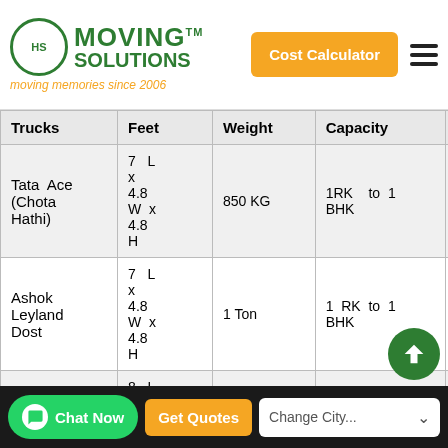[Figure (logo): Moving Solutions logo with circular HS emblem, green text 'MOVING SOLUTIONS TM', orange tagline 'moving memories since 2006']
| Trucks | Feet | Weight | Capacity | Fare | Per KM | Ch... |
| --- | --- | --- | --- | --- | --- | --- |
| Tata Ace (Chota Hathi) | 7 L x 4.8 W x 4.8 H | 850 KG | 1RK to 1 BHK | Rs 250 | Rs 25 / 1km | Rs... |
| Ashok Leyland Dost | 7 L x 4.8 W x 4.8 H | 1 Ton | 1 RK to 1 BHK | Rs 300 | Rs 30 / 1km | Rs... |
| ... | 8 L |  |  |  |  |  |
Chat Now   Get Quotes   Change City...